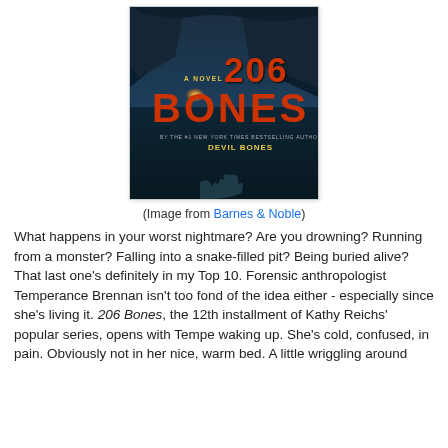[Figure (illustration): Book cover of '206 Bones' - A Novel by the #1 New York Times Bestselling Author of Devil Bones. Dark blue toned image of cave/water with large orange/red text '206 BONES' and '206' above it.]
(Image from Barnes & Noble)
What happens in your worst nightmare? Are you drowning? Running from a monster? Falling into a snake-filled pit? Being buried alive? That last one's definitely in my Top 10. Forensic anthropologist Temperance Brennan isn't too fond of the idea either - especially since she's living it. 206 Bones, the 12th installment of Kathy Reichs' popular series, opens with Tempe waking up. She's cold, confused, in pain. Obviously not in her nice, warm bed. A little wriggling around